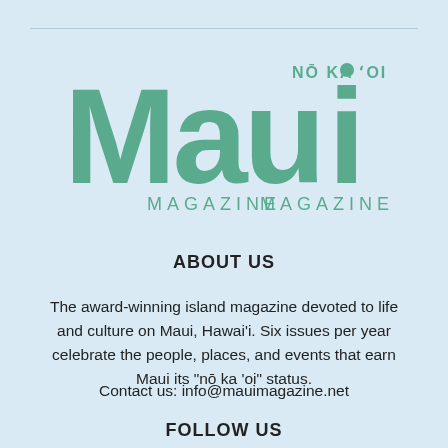[Figure (logo): Maui Magazine logo with 'NŌ KA 'OI' tagline above, large stylized 'Maui' text in teal/green, and 'MAGAZINE' below in teal]
ABOUT US
The award-winning island magazine devoted to life and culture on Maui, Hawai'i. Six issues per year celebrate the people, places, and events that earn Maui its "nō ka 'oi" status.
Contact us: info@mauimagazine.net
FOLLOW US